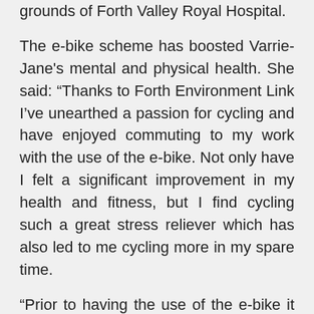grounds of Forth Valley Royal Hospital.
The e-bike scheme has boosted Varrie-Jane's mental and physical health. She said: “Thanks to Forth Environment Link I’ve unearthed a passion for cycling and have enjoyed commuting to my work with the use of the e-bike. Not only have I felt a significant improvement in my health and fitness, but I find cycling such a great stress reliever which has also led to me cycling more in my spare time.
“Prior to having the use of the e-bike it had been over 8 years since I was last on a bike and I would have struggled to complete a few miles! However, by being able to access this fantastic service and using the bike on a daily basis I have